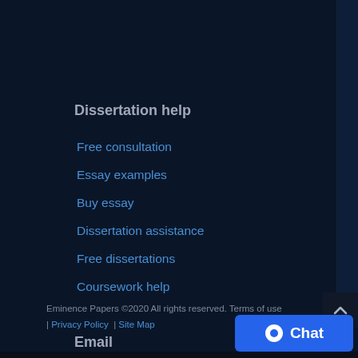Dissertation help
Free consultation
Essay examples
Buy essay
Dissertation assistance
Free dissertations
Coursework help
Email
info@eminencepapers.com
Eminence Papers ©2020 All rights reserved. Terms of use | Privacy Policy | Site Map